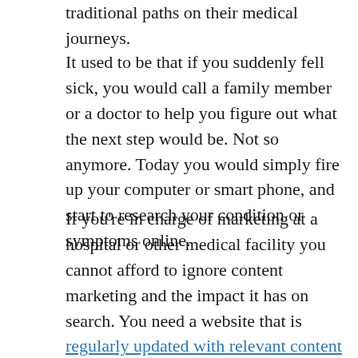traditional paths on their medical journeys.
It used to be that if you suddenly fell sick, you would call a family member or a doctor to help you figure out what the next step would be. Not so anymore. Today you would simply fire up your computer or smart phone, and start to research your condition or symptoms online.
If you're in charge of marketing at a hospital or other medical facility you cannot afford to ignore content marketing and the impact it has on search. You need a website that is regularly updated with relevant content that provides helpful answers to questions patients are asking.